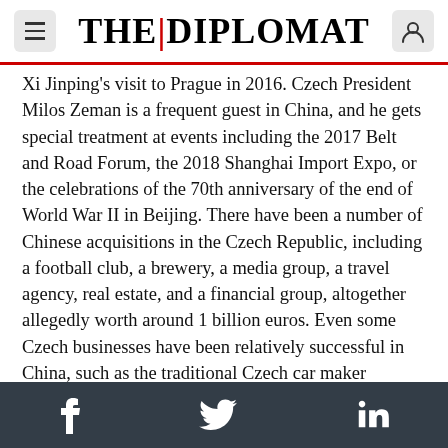THE | DIPLOMAT
Xi Jinping's visit to Prague in 2016. Czech President Milos Zeman is a frequent guest in China, and he gets special treatment at events including the 2017 Belt and Road Forum, the 2018 Shanghai Import Expo, or the celebrations of the 70th anniversary of the end of World War II in Beijing. There have been a number of Chinese acquisitions in the Czech Republic, including a football club, a brewery, a media group, a travel agency, real estate, and a financial group, altogether allegedly worth around 1 billion euros. Even some Czech businesses have been relatively successful in China, such as the traditional Czech car maker (owned now by German VW) Skoda car and the financial company
f   twitter   in